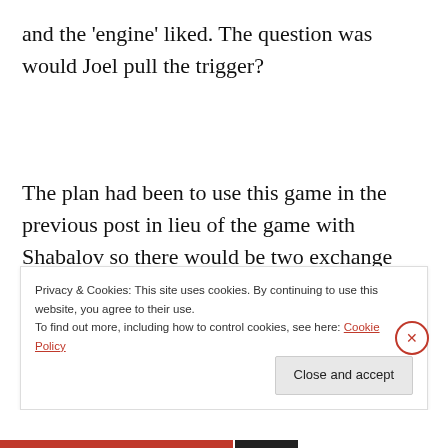and the 'engine' liked. The question was would Joel pull the trigger?
The plan had been to use this game in the previous post in lieu of the game with Shabalov so there would be two exchange sacrifices rather than the usual four sacrifices of
Privacy & Cookies: This site uses cookies. By continuing to use this website, you agree to their use.
To find out more, including how to control cookies, see here: Cookie Policy